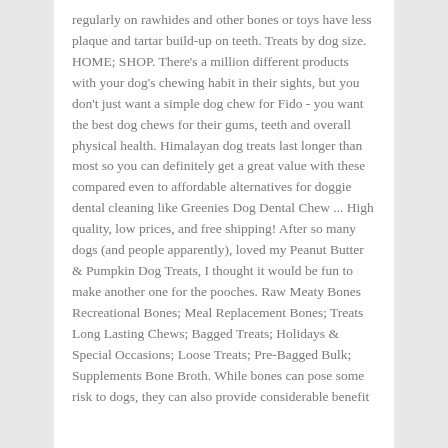regularly on rawhides and other bones or toys have less plaque and tartar build-up on teeth. Treats by dog size. HOME; SHOP. There's a million different products with your dog's chewing habit in their sights, but you don't just want a simple dog chew for Fido - you want the best dog chews for their gums, teeth and overall physical health. Himalayan dog treats last longer than most so you can definitely get a great value with these compared even to affordable alternatives for doggie dental cleaning like Greenies Dog Dental Chew ... High quality, low prices, and free shipping! After so many dogs (and people apparently), loved my Peanut Butter & Pumpkin Dog Treats, I thought it would be fun to make another one for the pooches. Raw Meaty Bones Recreational Bones; Meal Replacement Bones; Treats Long Lasting Chews; Bagged Treats; Holidays & Special Occasions; Loose Treats; Pre-Bagged Bulk; Supplements Bone Broth. While bones can pose some risk to dogs, they can also provide considerable benefit